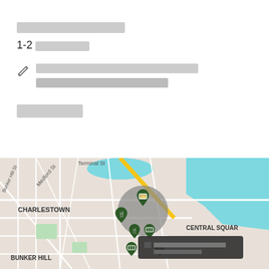[REDACTED]
1-2 [REDACTED]
[REDACTED link text]
[REDACTED]
[Figure (map): Street map showing Charlestown area of Boston with map pins indicating locations. Labels visible: Terminal St, Medford St, Bunker Hill St, CHARLESTOWN, BUNKER HILL, CENTRAL SQUAR. Multiple dark green map pins with icons (fork/knife, ticket) clustered in area. A dark tooltip/popup box visible with redacted text.]